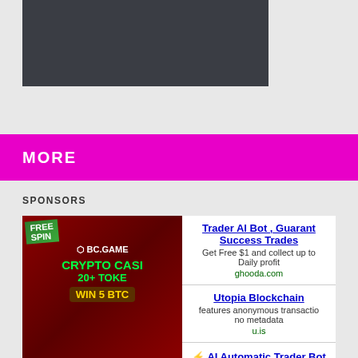[Figure (screenshot): Dark gray video player placeholder rectangle]
MORE
SPONSORS
[Figure (photo): BC.GAME crypto casino advertisement with FREE SPIN banner, CRYPTO CASINO text, 20+ TOKENS and WIN 5 BTC]
Trader AI Bot , Guarant Success Trades
Get Free $1 and collect up to Daily profit
ghooda.com
Utopia Blockchain
features anonymous transactions no metadata
u.is
⚡ AI Automatic Trader Bot